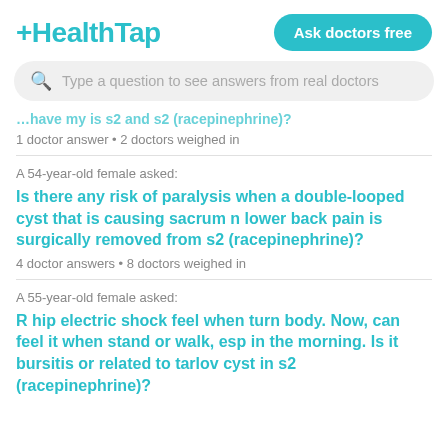HealthTap
Ask doctors free
Type a question to see answers from real doctors
...have my is s2 and s2 (racepinephrine)?
1 doctor answer • 2 doctors weighed in
A 54-year-old female asked:
Is there any risk of paralysis when a double-looped cyst that is causing sacrum n lower back pain is surgically removed from s2 (racepinephrine)?
4 doctor answers • 8 doctors weighed in
A 55-year-old female asked:
R hip electric shock feel when turn body. Now, can feel it when stand or walk, esp in the morning. Is it bursitis or related to tarlov cyst in s2 (racepinephrine)?